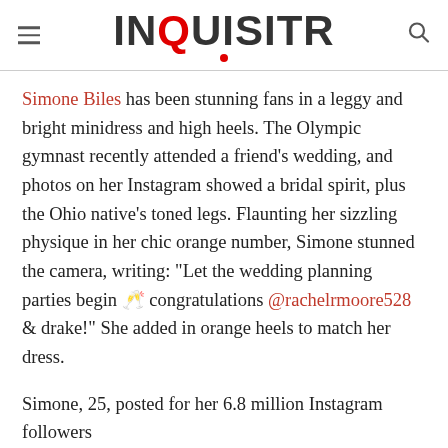INQUISITR
Simone Biles has been stunning fans in a leggy and bright minidress and high heels. The Olympic gymnast recently attended a friend's wedding, and photos on her Instagram showed a bridal spirit, plus the Ohio native's toned legs. Flaunting her sizzling physique in her chic orange number, Simone stunned the camera, writing: "Let the wedding planning parties begin 🥂 congratulations @rachelrmoore528 & drake!" She added in orange heels to match her dress.
Simone, 25, posted for her 6.8 million Instagram followers